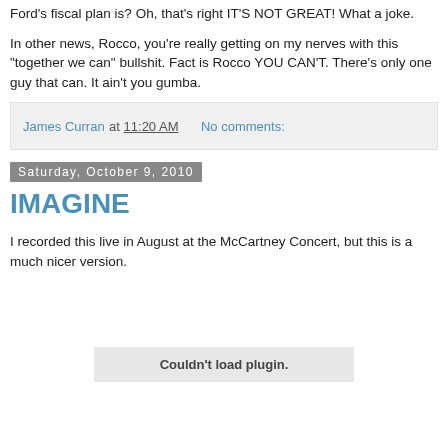Ford's fiscal plan is? Oh, that's right IT'S NOT GREAT! What a joke.
In other news, Rocco, you're really getting on my nerves with this "together we can" bullshit. Fact is Rocco YOU CAN'T. There's only one guy that can. It ain't you gumba.
James Curran at 11:20 AM    No comments:
Saturday, October 9, 2010
IMAGINE
I recorded this live in August at the McCartney Concert, but this is a much nicer version.
[Figure (other): Embedded media plugin placeholder showing 'Couldn't load plugin.']